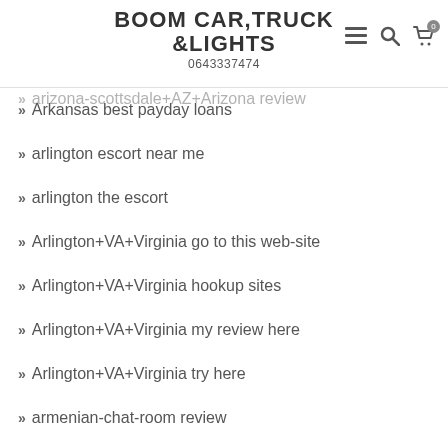BOOM CAR, TRUCK & LIGHTS
0643337474
Ardent visitors
argentina-dating-sites review
arizona-scottsdale+AZ+Arizona review
Arkansas best payday loans
arlington escort near me
arlington the escort
Arlington+VA+Virginia go to this web-site
Arlington+VA+Virginia hookup sites
Arlington+VA+Virginia my review here
Arlington+VA+Virginia try here
armenian-chat-room review
Articles
Artist Dating Sites online
arvada dating
arvada eros escort